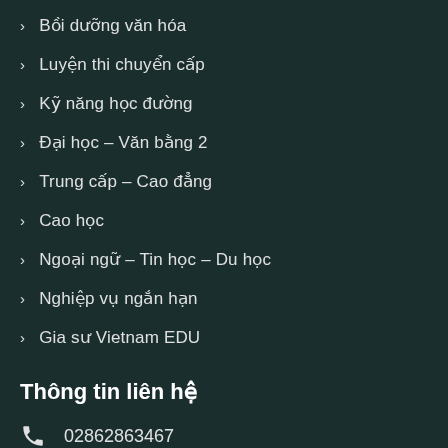Bồi dưỡng văn hóa
Luyện thi chuyển cấp
Kỹ năng học đường
Đại học – Văn bằng 2
Trung cấp – Cao đẳng
Cao học
Ngoại ngữ – Tin học – Du học
Nghiệp vụ ngắn hạn
Gia sư Vietnam EDU
Thông tin liên hệ
02862863467